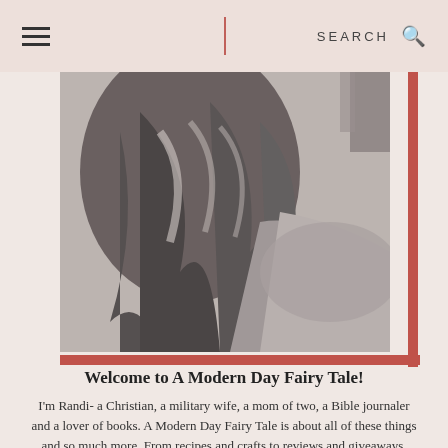≡  |  SEARCH  🔍
[Figure (photo): Black and white close-up photo of a woman with long wavy hair, wearing a light-colored jacket/blazer, viewed from behind or side. A red L-shaped border frames the image on the right and bottom.]
Welcome to A Modern Day Fairy Tale!
I'm Randi- a Christian, a military wife, a mom of two, a Bible journaler and a lover of books. A Modern Day Fairy Tale is about all of these things and so much more. From recipes and crafts to reviews and giveaways, you'll find it all here! Check it out, and join the fun!